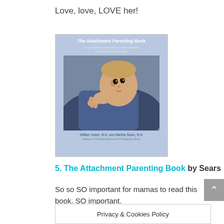Love, love, LOVE her!
[Figure (photo): Book cover of 'The Attachment Parenting Book' by William Sears M.D. and Martha Sears R.N., showing a baby clinging to an adult's shoulder]
5. The Attachment Parenting Book by Sears
So so SO important for mamas to read this book. SO important.
I 100% believe that following the principles in this book has deeply affected our parenting, and how Ostara is